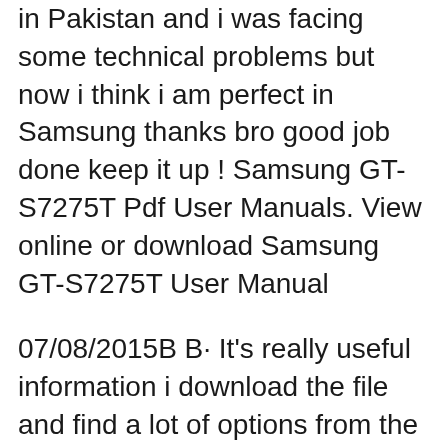in Pakistan and i was facing some technical problems but now i think i am perfect in Samsung thanks bro good job done keep it up ! Samsung GT-S7275T Pdf User Manuals. View online or download Samsung GT-S7275T User Manual
07/08/2015В В· It's really useful information i download the file and find a lot of options from the manuals and its really useful for me. I have done my a lot of problems after read this manual. I am using Samsung Galaxy Core Prime in Pakistan and i was facing some technical problems but now i think i am perfect in Samsung thanks bro good job done keep it up ! User Manual